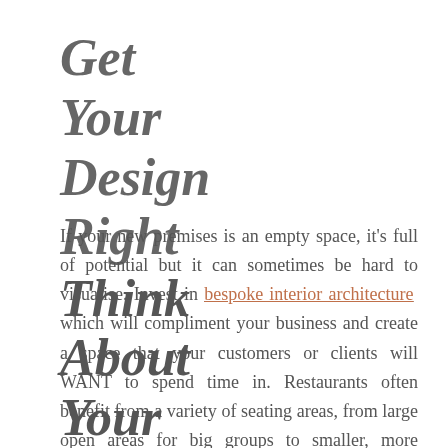Get Your Design Right
If your new premises is an empty space, it's full of potential but it can sometimes be hard to visualise. Invest in bespoke interior architecture which will compliment your business and create a space that your customers or clients will WANT to spend time in. Restaurants often benefit from a variety of seating areas, from large open areas for big groups to smaller, more intimate nooks for couples. Adding to your architecture could help you to create all of these in one space.
Think About Your